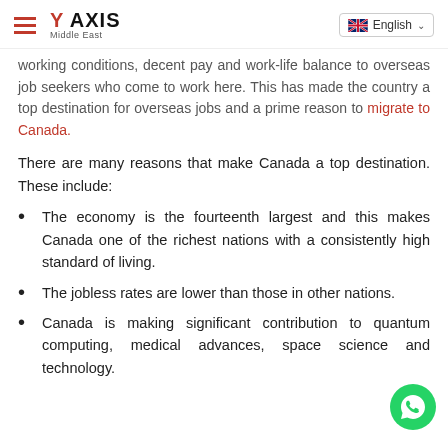Y AXIS Middle East | English
working conditions, decent pay and work-life balance to overseas job seekers who come to work here. This has made the country a top destination for overseas jobs and a prime reason to migrate to Canada.
There are many reasons that make Canada a top destination. These include:
The economy is the fourteenth largest and this makes Canada one of the richest nations with a consistently high standard of living.
The jobless rates are lower than those in other nations.
Canada is making significant contribution to quantum computing, medical advances, space science and technology.